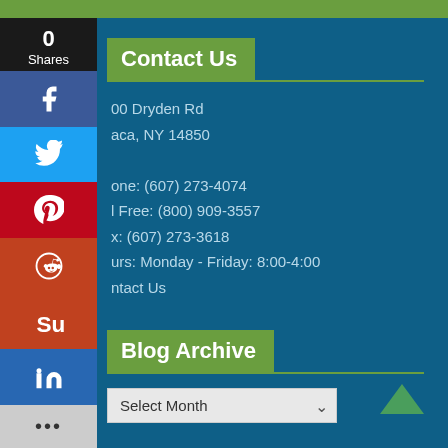Contact Us
00 Dryden Rd
aca, NY 14850

one: (607) 273-4074
l Free: (800) 909-3557
x: (607) 273-3618
urs: Monday - Friday: 8:00-4:00
ntact Us
Blog Archive
Select Month